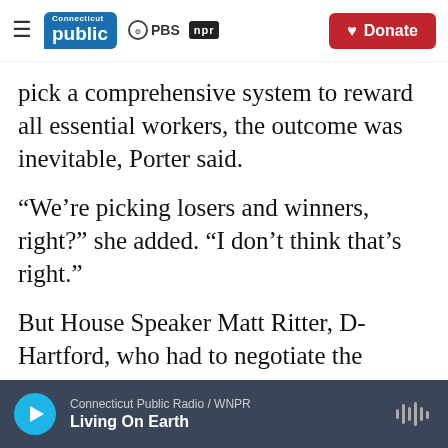Connecticut Public | PBS | NPR — Donate
pick a comprehensive system to reward all essential workers, the outcome was inevitable, Porter said.
“We’re picking losers and winners, right?” she added. “I don’t think that’s right.”
But House Speaker Matt Ritter, D-Hartford, who had to negotiate the premium pay issue with the Lamont administration along with dozens of other items when the new state budget was crafted in early May, said top leaders were hard-pressed.
Connecticut Public Radio / WNPR — Living On Earth